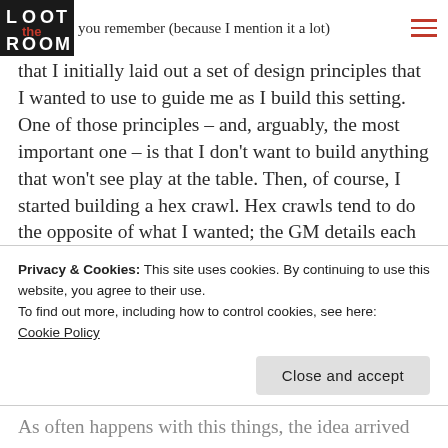you remember (because I mention it a lot)
that I initially laid out a set of design principles that I wanted to use to guide me as I build this setting. One of those principles – and, arguably, the most important one – is that I don't want to build anything that won't see play at the table. Then, of course, I started building a hex crawl. Hex crawls tend to do the opposite of what I wanted; the GM details each hex, and the party may or may not encounter them.

I haven't written about it a huge amount, but this has
Privacy & Cookies: This site uses cookies. By continuing to use this website, you agree to their use.
To find out more, including how to control cookies, see here:
Cookie Policy
Close and accept
As often happens with this things, the idea arrived